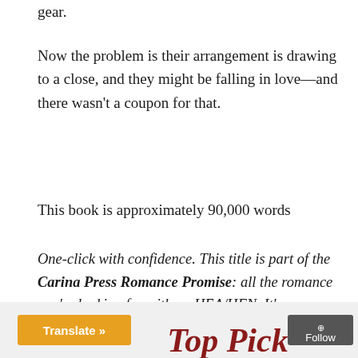gear.
Now the problem is their arrangement is drawing to a close, and they might be falling in love—and there wasn't a coupon for that.
This book is approximately 90,000 words
One-click with confidence. This title is part of the Carina Press Romance Promise: all the romance you're looking for with an HEA/HFN. It's a promise!
[Figure (other): Bottom bar with orange Translate button, decorative 'Top Pick' script text, and grey Follow button]